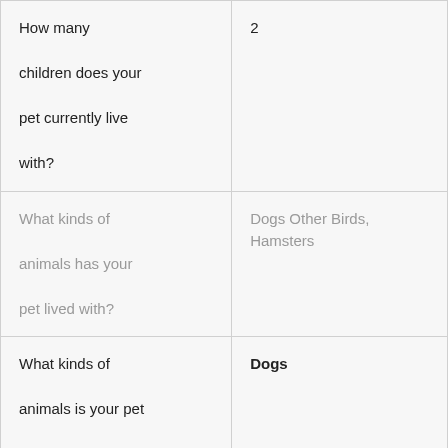| How many children does your pet currently live with? | 2 |
| What kinds of animals has your pet lived with? | Dogs Other Birds, Hamsters |
| What kinds of animals is your pet comfortable being around? | Dogs |
| What kind(s) of environment is your pet comfortable with? | Busy |